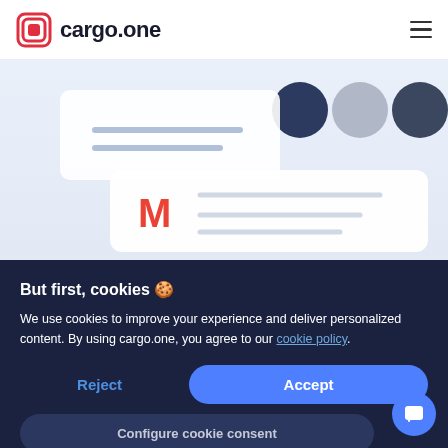cargo.one
[Figure (screenshot): Screenshot showing a web application interface with user profile circles at top and a Gmail email preview card below]
But first, cookies 🍪
We use cookies to improve your experience and deliver personalized content. By using cargo.one, you agree to our cookie policy.
Reject | Accept
Configure cookie consent